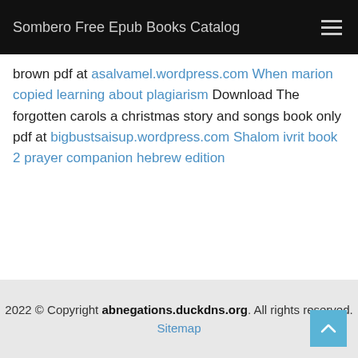Sombero Free Epub Books Catalog
brown pdf at asalvamel.wordpress.com When marion copied learning about plagiarism Download The forgotten carols a christmas story and songs book only pdf at bigbustsaisup.wordpress.com Shalom ivrit book 2 prayer companion hebrew edition
2022 © Copyright abnegations.duckdns.org. All rights reserved. Sitemap